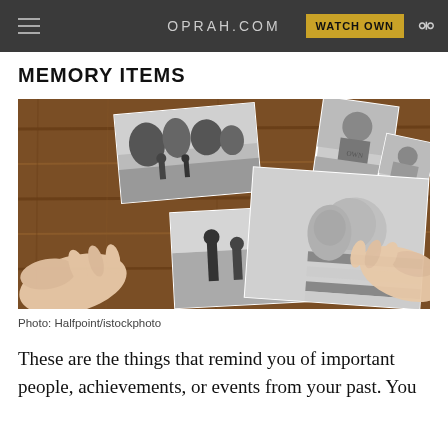OPRAH.COM | WATCH OWN
MEMORY ITEMS
[Figure (photo): Hands holding black-and-white photographs spread on a wooden table — various family photos including a mother with baby, group shots among trees, and a portrait — viewed from above on a rustic wood surface.]
Photo: Halfpoint/istockphoto
These are the things that remind you of important people, achievements, or events from your past. You